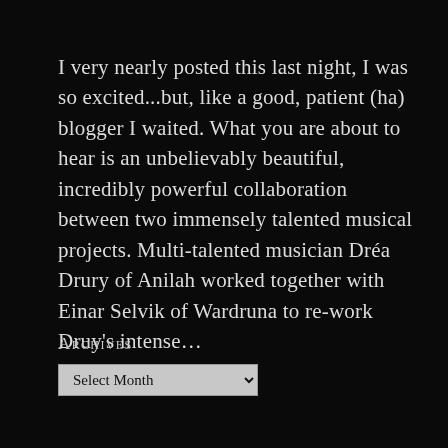I very nearly posted this last night, I was so excited...but, like a good, patient (ha) blogger I waited. What you are about to hear is an unbelievably beautiful, incredibly powerful collaboration between two immensely talented musical projects. Multi-talented musician Dréa Drury of Anilah worked together with Einar Selvik of Wardruna to re-work Druy's intense... Continue reading →
Archives